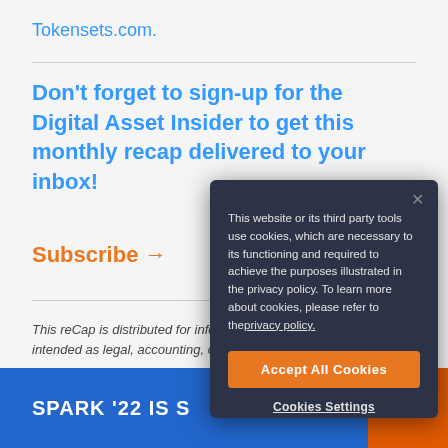Tokensets.com.
Don't forget to sign-up for the Digital Asset Insider to get this monthly recap delivered to your inbox!
Subscribe →
This reCap is distributed for informational purposes only and is not intended as legal, accounting, or investment advice.
[Figure (screenshot): Cookie consent modal overlay with dark background reading: 'This website or its third party tools use cookies, which are necessary to its functioning and required to achieve the purposes illustrated in the privacy policy. To learn more about cookies, please refer to the privacy policy.' With Accept All Cookies button and Cookies Settings link.]
SPARK '22 IS S